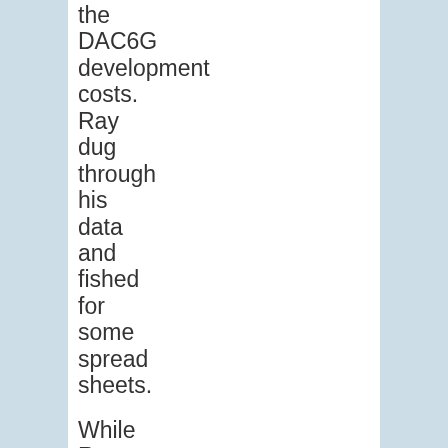the DAC6G development costs. Ray dug through his data and fished for some spread sheets.

While Ray searched for the spread sheets, Pete